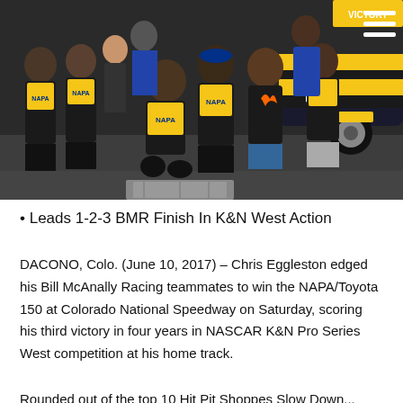[Figure (photo): Group photo of a NASCAR racing team in black and yellow NAPA-branded racing suits, posing together at night near a race car. The team is celebrating a victory at Colorado National Speedway.]
• Leads 1-2-3 BMR Finish In K&N West Action
DACONO, Colo. (June 10, 2017) – Chris Eggleston edged his Bill McAnally Racing teammates to win the NAPA/Toyota 150 at Colorado National Speedway on Saturday, scoring his third victory in four years in NASCAR K&N Pro Series West competition at his home track.
Rounded out of the top 10 Hit Pit Shoppes Slow Down...